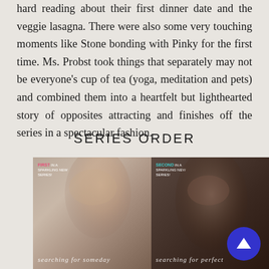hard reading about their first dinner date and the veggie lasagna. There were also some very touching moments like Stone bonding with Pinky for the first time. Ms. Probst took things that separately may not be everyone's cup of tea (yoga, meditation and pets) and combined them into a heartfelt but lighthearted story of opposites attracting and finishes off the series in a spectacular fashion.
SERIES ORDER
[Figure (photo): Two book covers side by side. Left cover: 'FIRST IN A SPARKLING NEW SERIES!' badge, blonde woman's face, title 'searching for someday'. Right cover: 'SECOND IN A SPARKLING NEW SERIES!' badge, dark-haired woman's face, title 'searching for perfect'. A blue circular scroll-up button overlaps bottom right.]